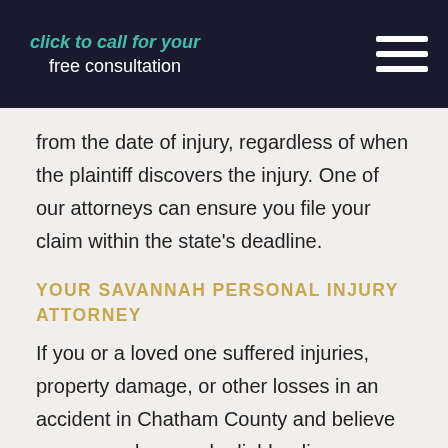click to call for your free consultation
from the date of injury, regardless of when the plaintiff discovers the injury. One of our attorneys can ensure you file your claim within the state's deadline.
YOUR SAVANNAH PERSONAL INJURY ATTORNEY
If you or a loved one suffered injuries, property damage, or other losses in an accident in Chatham County and believe someone else may be liable, discuss your case with the attorneys at Butler Prather LLP today to schedule a free case